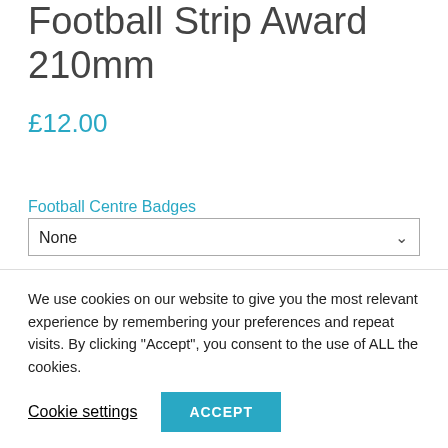Football Strip Award 210mm
£12.00
Football Centre Badges
None
Engraving Style
Gothic Black
We use cookies on our website to give you the most relevant experience by remembering your preferences and repeat visits. By clicking "Accept", you consent to the use of ALL the cookies.
Cookie settings
ACCEPT